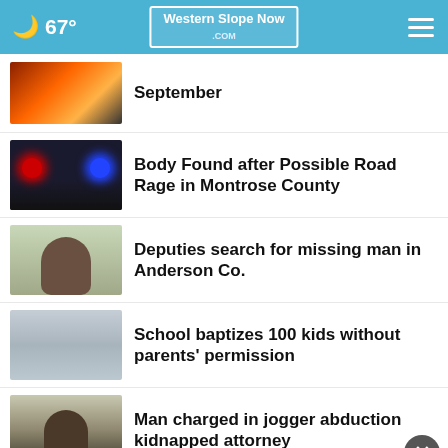67° Western Slope Now .COM
September
Body Found after Possible Road Rage in Montrose County
Deputies search for missing man in Anderson Co.
School baptizes 100 kids without parents' permission
Man charged in jogger abduction kidnapped attorney
[Figure (screenshot): Advertisement banner: Yes! Dental - Quality, Affordable Care for a Lifetime. Proud sponsor of the Grand Junction Rockies.]